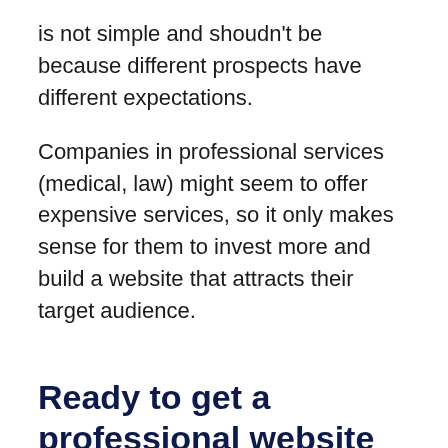is not simple and shoudn't be because different prospects have different expectations.
Companies in professional services (medical, law) might seem to offer expensive services, so it only makes sense for them to invest more and build a website that attracts their target audience.
Ready to get a professional website for your business?
Would you like to find out more about